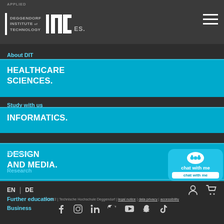DEGGENDORF INSTITUTE OF TECHNOLOGY DIT
HEALTHCARE SCIENCES.
About DIT
INFORMATICS.
Study with us
DESIGN AND MEDIA.
Students
ELECTRICAL ENGINEERING AND INFORMATION TECHNOLOGY.
Research
MECHANICAL ENGINEERING AND MECHATRONICS.
Further education
Business
EN | DE
© 2022 | Technische Hochschule Deggendorf | legal notice | data privacy | accessibility
[Figure (logo): DIT Deggendorf Institute of Technology logo with hamburger menu icon]
[Figure (other): chat with me widget in cyan/blue]